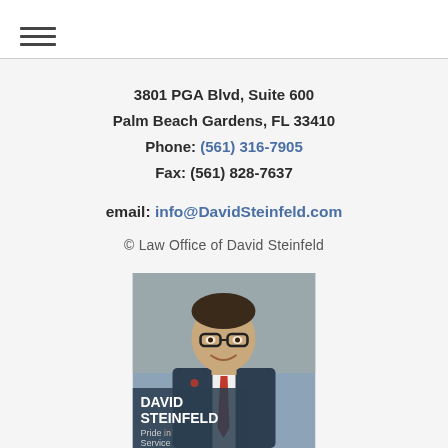[Figure (other): Hamburger menu icon (three horizontal lines)]
3801 PGA Blvd, Suite 600
Palm Beach Gardens, FL 33410
Phone: (561) 316-7905
Fax: (561) 828-7637
email: info@DavidSteinfeld.com
© Law Office of David Steinfeld
[Figure (photo): Photo of David Steinfeld, a man in suit and tie wearing glasses, smiling, with text overlay 'DAVID STEINFELD Pride in Service' and a quote mark graphic at the bottom]